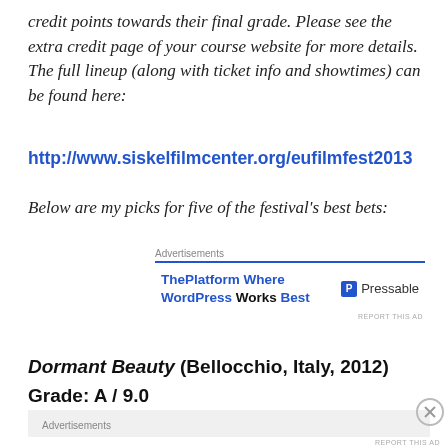credit points towards their final grade. Please see the extra credit page of your course website for more details. The full lineup (along with ticket info and showtimes) can be found here:
http://www.siskelfilmcenter.org/eufilmfest2013
Below are my picks for five of the festival's best bets:
[Figure (other): Advertisement block: ThePlatform Where WordPress Works Best / Pressable]
Dormant Beauty (Bellocchio, Italy, 2012)
Grade: A / 9.0
[Figure (other): Advertisement block at bottom of page]